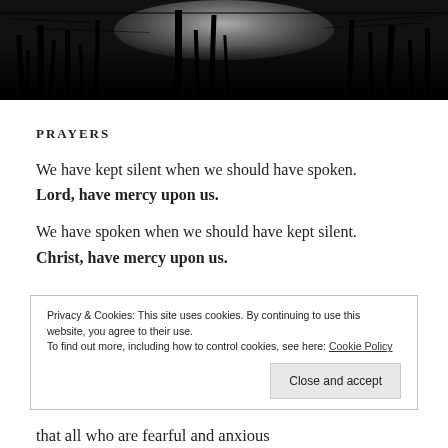[Figure (photo): Black and white photograph of bare tree silhouettes against a moonlit or overcast sky, dark and atmospheric]
PRAYERS
We have kept silent when we should have spoken.
Lord, have mercy upon us.
We have spoken when we should have kept silent.
Christ, have mercy upon us.
Privacy & Cookies: This site uses cookies. By continuing to use this website, you agree to their use.
To find out more, including how to control cookies, see here: Cookie Policy
Close and accept
that all who are fearful and anxious